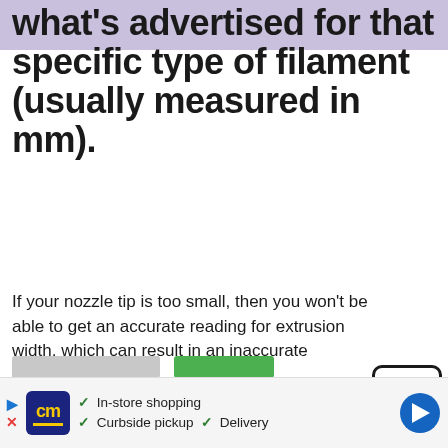what's advertised for that specific type of filament (usually measured in mm).
If your nozzle tip is too small, then you won't be able to get an accurate reading for extrusion width, which can result in an inaccurate calibration.
We use cookies on our website to give you the most relevant experience by remembering your preferences and repeat visits. By clicking “Accept”, you consent to the use of ALL the cookies.
Do not sell my personal information.
[Figure (other): Advertisement bar with CM logo, checkmarks for In-store shopping, Curbside pickup, Delivery, and a blue navigation arrow icon]